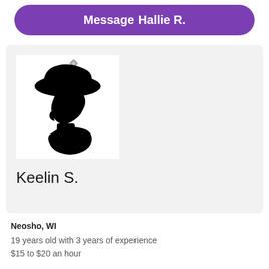Message Hallie R.
[Figure (illustration): Black silhouette profile of a person wearing a hat with floral decorations, facing left, shown from shoulders up against a white background]
Keelin S.
Neosho, WI
19 years old with 3 years of experience
$15 to $20 an hour